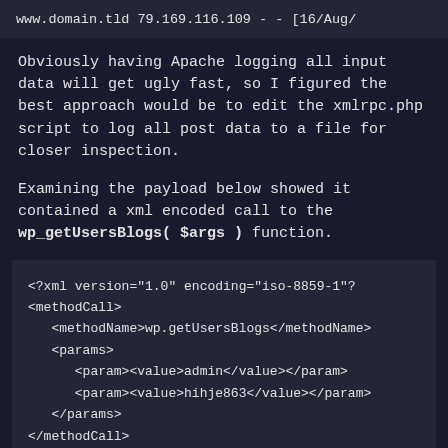[Figure (screenshot): Dark code block showing Apache log entry: www.domain.tld 79.169.116.109 - - [16/Aug/]
Obviously having Apache logging all input data will get ugly fast, so I figured the best approach would be to edit the xmlrpc.php script to log all post data to a file for closer inspection.
Examining the payload below showed it contained a xml encoded call to the wp_getUsersBlogs( $args ) function.
[Figure (screenshot): Dark code block with XML payload: <?xml version="1.0" encoding="iso-8859-1"?><methodCall><methodName>wp.getUsersBlogs</methodName><params><param><value>admin</value></param><param><value>hihje863</value></param></params></methodCall>]